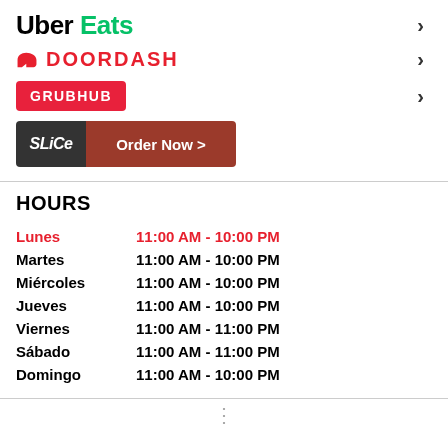[Figure (logo): Uber Eats logo with 'Uber' in black and 'Eats' in green]
[Figure (logo): DoorDash logo with red arrow icon and red bold text DOORDASH]
[Figure (logo): Grubhub badge in red with white uppercase text GRUBHUB]
[Figure (logo): Slice button with dark left panel showing 'slice' logo and red-brown right panel showing 'Order Now >']
HOURS
| Day | Hours |
| --- | --- |
| Lunes | 11:00 AM - 10:00 PM |
| Martes | 11:00 AM - 10:00 PM |
| Miércoles | 11:00 AM - 10:00 PM |
| Jueves | 11:00 AM - 10:00 PM |
| Viernes | 11:00 AM - 11:00 PM |
| Sábado | 11:00 AM - 11:00 PM |
| Domingo | 11:00 AM - 10:00 PM |